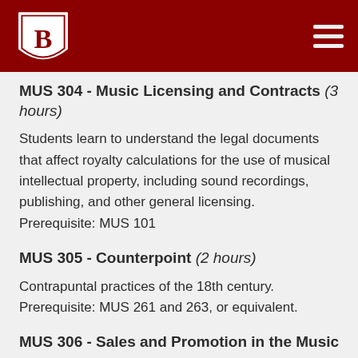B (Bradley University logo) — navigation menu
MUS 304 - Music Licensing and Contracts (3 hours)
Students learn to understand the legal documents that affect royalty calculations for the use of musical intellectual property, including sound recordings, publishing, and other general licensing. Prerequisite: MUS 101
MUS 305 - Counterpoint (2 hours)
Contrapuntal practices of the 18th century. Prerequisite: MUS 261 and 263, or equivalent.
MUS 306 - Sales and Promotion in the Music